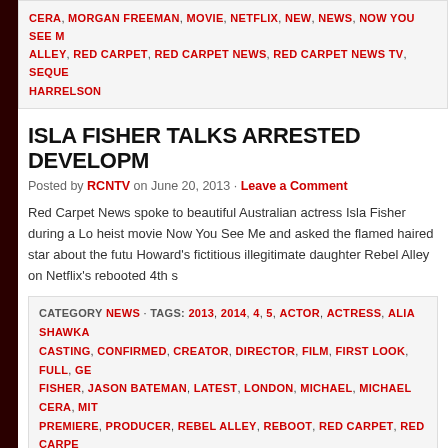CERA, MORGAN FREEMAN, MOVIE, NETFLIX, NEW, NEWS, NOW YOU SEE ME, REBEL ALLEY, RED CARPET, RED CARPET NEWS, RED CARPET NEWS TV, SEQUEL, ... HARRELSON
ISLA FISHER TALKS ARRESTED DEVELOPMENT
Posted by RCNTV on June 20, 2013 · Leave a Comment
Red Carpet News spoke to beautiful Australian actress Isla Fisher during a Lo... heist movie Now You See Me and asked the flamed haired star about the futu... Howard's fictitious illegitimate daughter Rebel Alley on Netflix's rebooted 4th s...
CATEGORY NEWS · TAGS: 2013, 2014, 4, 5, ACTOR, ACTRESS, ALIA SHAWKA... CASTING, CONFIRMED, CREATOR, DIRECTOR, FILM, FIRST LOOK, FULL, GE... FISHER, JASON BATEMAN, LATEST, LONDON, MICHAEL, MICHAEL CERA, MIT... PREMIERE, PRODUCER, REBEL ALLEY, REBOOT, RED CARPET, RED CARPE... HOWARD, SEASON, SEQUEL, SERIES, TELEVISION, TOBIAS, TONY HALE, TR...
ARRESTED DEVELOPMENT SEASON 4 POST...
Posted by RCNTV on April 11, 2013 · Leave a Comment
Netflix has gloriously revived Arrested Development for a new 4th season, cat...